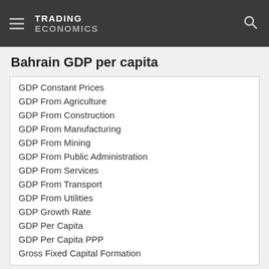TRADING ECONOMICS
Bahrain GDP per capita
GDP Constant Prices
GDP From Agriculture
GDP From Construction
GDP From Manufacturing
GDP From Mining
GDP From Public Administration
GDP From Services
GDP From Transport
GDP From Utilities
GDP Growth Rate
GDP Per Capita
GDP Per Capita PPP
Gross Fixed Capital Formation
Labour